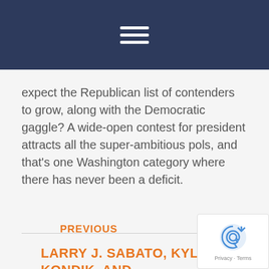[Navigation bar with hamburger menu]
expect the Republican list of contenders to grow, along with the Democratic gaggle? A wide-open contest for president attracts all the super-ambitious pols, and that's one Washington category where there has never been a deficit.
LARRY J. SABATO, KYLE KONDIK, AND GEOFFREY SKELLEY
PREVIOUS